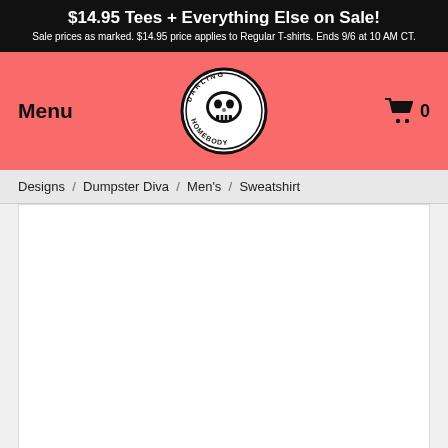$14.95 Tees + Everything Else on Sale! Sale prices as marked. $14.95 price applies to Regular T-shirts. Ends 9/6 at 10 AM CT.
[Figure (logo): Darling Homebody circular logo with skull illustration]
Menu
0
Designs  /  Dumpster Diva  /  Men's  /  Sweatshirt
[Figure (photo): Product image area - white background, content not visible]